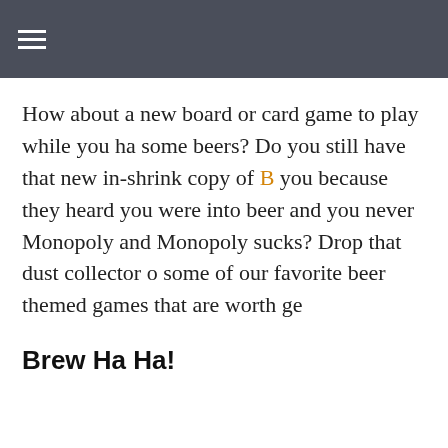≡
How about a new board or card game to play while you ha some beers? Do you still have that new in-shrink copy of [link] you because they heard you were into beer and you never Monopoly and Monopoly sucks? Drop that dust collector d some of our favorite beer themed games that are worth ge
Brew Ha Ha!